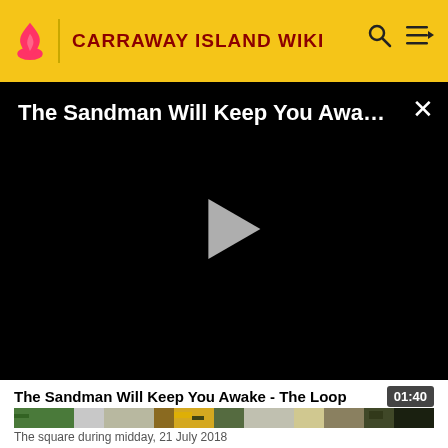CARRAWAY ISLAND WIKI
[Figure (screenshot): Video player with black background showing title 'The Sandman Will Keep You Awake...' with a play button and close X button]
The Sandman Will Keep You Awake - The Loop  01:40
[Figure (photo): Image strip showing the square during midday, 21 July 2018]
The square during midday, 21 July 2018
Constitution Square is a public square located in the neighborhood of East Kensington, Adeletsia. this bordered